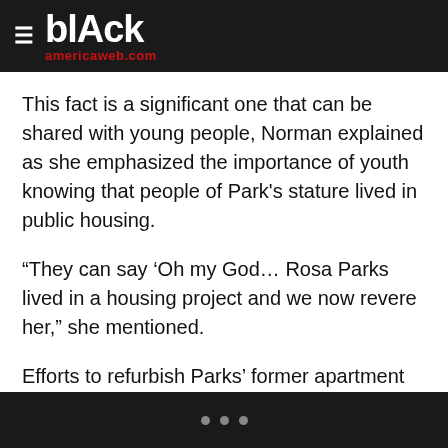≡ blAck americaweb.com
This fact is a significant one that can be shared with young people, Norman explained as she emphasized the importance of youth knowing that people of Park's stature lived in public housing.
“They can say ‘Oh my God… Rosa Parks lived in a housing project and we now revere her,” she mentioned.
Efforts to refurbish Parks’ former apartment included furnishing it with period pieces to reflect what it was like during the time she was there, said Hester, who described the residence as a type of small museum.
• • •